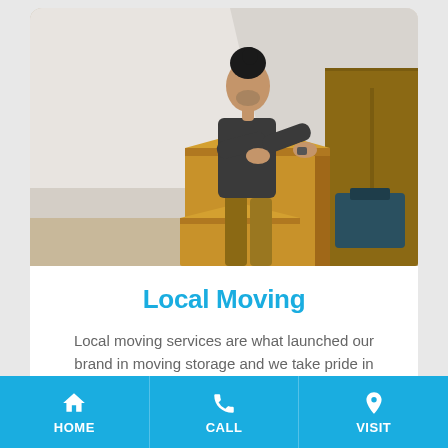[Figure (photo): A man with dark hair in a bun, wearing a dark t-shirt and khaki pants, leaning over a large cardboard moving box in a room with other boxes and wood furniture visible.]
Local Moving
Local moving services are what launched our brand in moving storage and we take pride in providing the same attention of
HOME   CALL   VISIT